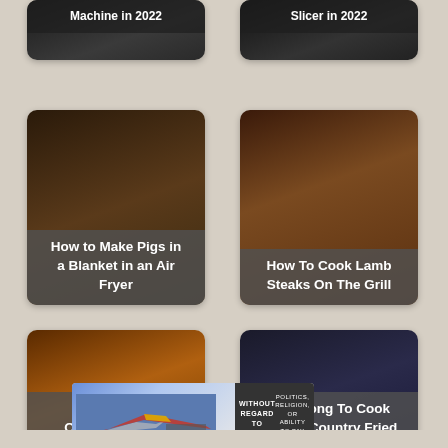[Figure (photo): Partial card top - Machine in 2022]
[Figure (photo): Partial card top - Slicer in 2022]
[Figure (photo): How to Make Pigs in a Blanket in an Air Fryer - food card with dark cooking pan image]
[Figure (photo): How To Cook Lamb Steaks On The Grill - food card with grilled lamb steaks on wooden board]
[Figure (photo): Best Air Fryer Orange Chicken - food card with orange chicken dish]
[Figure (photo): How Long To Cook Frozen Country Fried - food card with dark background]
[Figure (photo): Advertisement banner - airplane cargo loading image with text WITHOUT REGARD TO POLITICS, RELIGION, OR ABILITY TO PAY]